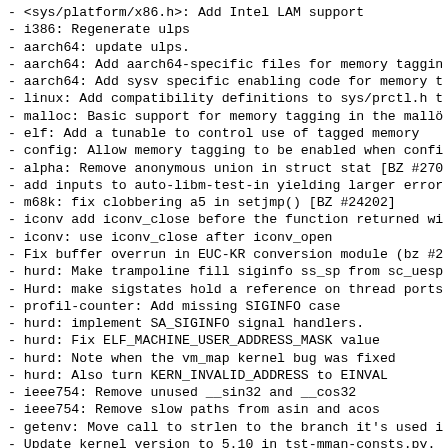- <sys/platform/x86.h>: Add Intel LAM support
- i386: Regenerate ulps
- aarch64: update ulps.
- aarch64: Add aarch64-specific files for memory taggin
- aarch64: Add sysv specific enabling code for memory t
- linux: Add compatibility definitions to sys/prctl.h t
- malloc: Basic support for memory tagging in the mallö
- elf: Add a tunable to control use of tagged memory
- config: Allow memory tagging to be enabled when confi
- alpha: Remove anonymous union in struct stat [BZ #270
- add inputs to auto-libm-test-in yielding larger error
- m68k: fix clobbering a5 in setjmp() [BZ #24202]
- iconv add iconv_close before the function returned wi
- iconv: use iconv_close after iconv_open
- Fix buffer overrun in EUC-KR conversion module (bz #2
- hurd: Make trampoline fill siginfo ss_sp from sc_uesp
- Hurd: make sigstates hold a reference on thread ports
- profil-counter: Add missing SIGINFO case
- hurd: implement SA_SIGINFO signal handlers.
- hurd: Fix ELF_MACHINE_USER_ADDRESS_MASK value
- hurd: Note when the vm_map kernel bug was fixed
- hurd: Also turn KERN_INVALID_ADDRESS to EINVAL
- ieee754: Remove unused __sin32 and __cos32
- ieee754: Remove slow paths from asin and acos
- getenv: Move call to strlen to the branch it's used i
- Update kernel version to 5.10 in tst-mman-consts.py.
- s390x: Require GCC 7.1 or later to build glibc.
- malloc: Use __libc_initial to detect an inner libc
- Replace __libc_multiple_libcs with __libc_initial fla
- {nptl,htl}/semaphoreP.h: clean up